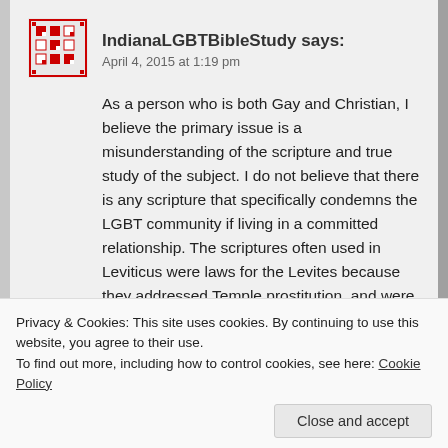[Figure (other): Red and white decorative square avatar/icon for IndianaLGBTBibleStudy]
IndianaLGBTBibleStudy says:
April 4, 2015 at 1:19 pm
As a person who is both Gay and Christian, I believe the primary issue is a misunderstanding of the scripture and true study of the subject. I do not believe that there is any scripture that specifically condemns the LGBT community if living in a committed relationship. The scriptures often used in Leviticus were laws for the Levites because they addressed Temple prostitution, and were never repeated in Deuteronomy which repeats all the laws that apply to the common man. Why tell the priest
Privacy & Cookies: This site uses cookies. By continuing to use this website, you agree to their use.
To find out more, including how to control cookies, see here: Cookie Policy
Close and accept